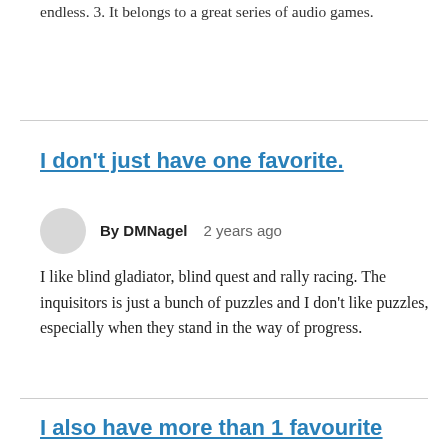endless. 3. It belongs to a great series of audio games.
I don't just have one favorite.
By DMNagel   2 years ago
I like blind gladiator, blind quest and rally racing. The inquisitors is just a bunch of puzzles and I don't like puzzles, especially when they stand in the way of progress.
I also have more than 1 favourite